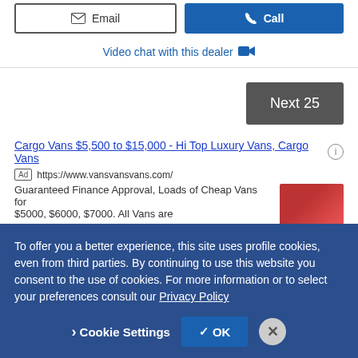Email (button) | Call (button)
Video chat with this dealer
Next 25
Cargo Vans $5,500 to $15,000 - Hi Top Luxury Vans, Cargo Vans
Ad https://www.vansvansvans.com/
Guaranteed Finance Approval, Loads of Cheap Vans for $5000, $6000, $7000. All Vans are
To offer you a better experience, this site uses profile cookies, even from third parties. By continuing to use this website you consent to the use of cookies. For more information or to select your preferences consult our Privacy Policy
Cookie Settings | OK